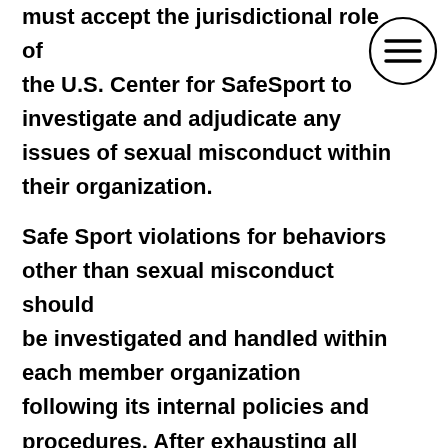must accept the jurisdictional role of the U.S. Center for SafeSport to investigate and adjudicate any issues of sexual misconduct within their organization.
[Figure (other): Hamburger menu icon — three horizontal lines inside a circle outline, positioned top-right]
Safe Sport violations for behaviors other than sexual misconduct should be investigated and handled within each member organization following its internal policies and procedures. After exhausting all remedies afforded by the member organization's policy, issues of misconduct may be brought to